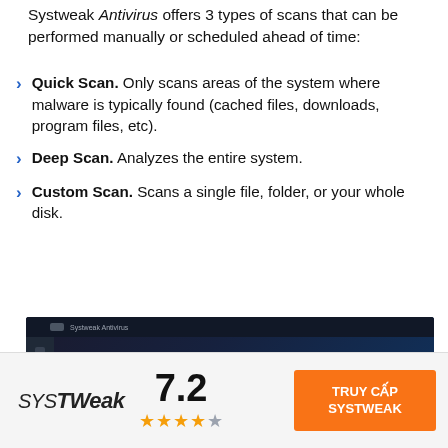Systweak Antivirus offers 3 types of scans that can be performed manually or scheduled ahead of time:
Quick Scan. Only scans areas of the system where malware is typically found (cached files, downloads, program files, etc).
Deep Scan. Analyzes the entire system.
Custom Scan. Scans a single file, folder, or your whole disk.
[Figure (screenshot): Screenshot of Systweak Antivirus software interface with overlay text: 'Systweak detected almost all of my malware samples']
[Figure (logo): Systweak logo, score 7.2 with 3.5 stars, and orange CTA button 'TRUY CAP SYSTWEAK']